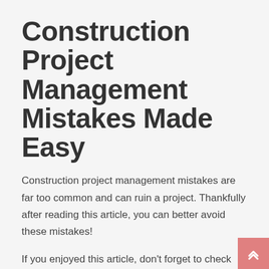Construction Project Management Mistakes Made Easy
Construction project management mistakes are far too common and can ruin a project. Thankfully after reading this article, you can better avoid these mistakes!
If you enjoyed this article, don't forget to check out the rest of our website for more information on construction topics.